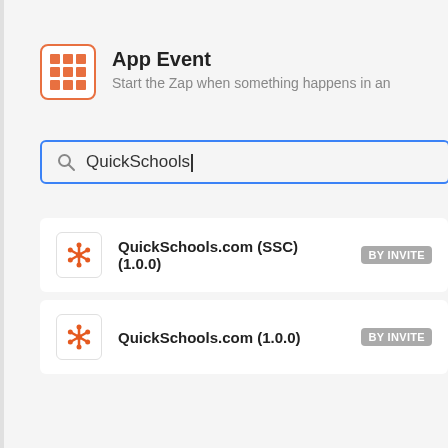[Figure (screenshot): App Event section with orange grid icon, title 'App Event', and description 'Start the Zap when something happens in an app']
App Event
Start the Zap when something happens in an
[Figure (screenshot): Search box with blue border containing text 'QuickSchools' and a cursor]
QuickSchools.com (SSC) (1.0.0) BY INVITE
QuickSchools.com (1.0.0) BY INVITE